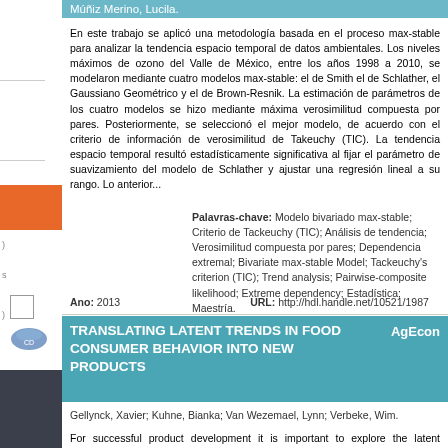Múñiz Merino, Lucila.
En este trabajo se aplicó una metodología basada en el proceso max-stable para analizar la tendencia espacio temporal de datos ambientales. Los niveles máximos de ozono del Valle de México, entre los años 1998 a 2010, se modelaron mediante cuatro modelos max-stable: el de Smith el de Schlather, el Gaussiano Geométrico y el de Brown-Resnik. La estimación de parámetros de los cuatro modelos se hizo mediante máxima verosimilitud compuesta por pares. Posteriormente, se seleccionó el mejor modelo, de acuerdo con el criterio de información de verosimilitud de Takeuchy (TIC). La tendencia espacio temporal resultó estadísticamente significativa al fijar el parámetro de suavizamiento del modelo de Schlather y ajustar una regresión lineal a su rango. Lo anterior...
Palavras-chave: Modelo bivariado max-stable; Criterio de Tackeuchy (TIC); Análisis de tendencia; Verosimilitud compuesta por pares; Dependencia extremal; Bivariate max-stable Model; Tackeuchy's criterion (TIC); Trend analysis; Pairwise-composite likelihood; Extreme dependency; Estadística; Maestría.
Ano: 2013   URL: http://hdl.handle.net/10521/1987
TRANSLATING LATENT TRENDS IN FOOD CONSUMER BEHAVIOR INTO NEW PRODUCTS
Gellynck, Xavier; Kuhne, Bianka; Van Wezemael, Lynn; Verbeke, Wim.
For successful product development it is important to explore the latent changes in consumer behavior prior to the product development process. The identification of a latent trend before the manifestation moment can be achieved by trend analysis. Trend analysis delivers insights that explore